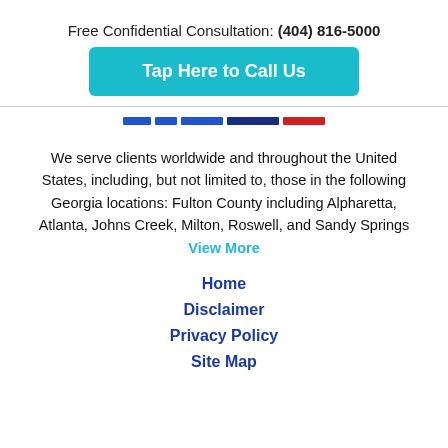Free Confidential Consultation: (404) 816-5000
Tap Here to Call Us
[Figure (other): Horizontal color bars in blue and red forming a decorative divider]
We serve clients worldwide and throughout the United States, including, but not limited to, those in the following Georgia locations: Fulton County including Alpharetta, Atlanta, Johns Creek, Milton, Roswell, and Sandy Springs View More
Home
Disclaimer
Privacy Policy
Site Map